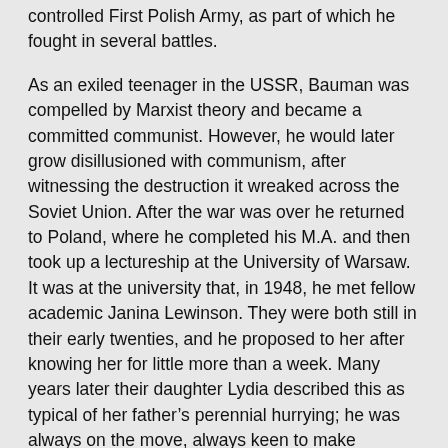controlled First Polish Army, as part of which he fought in several battles.
As an exiled teenager in the USSR, Bauman was compelled by Marxist theory and became a committed communist. However, he would later grow disillusioned with communism, after witnessing the destruction it wreaked across the Soviet Union. After the war was over he returned to Poland, where he completed his M.A. and then took up a lectureship at the University of Warsaw. It was at the university that, in 1948, he met fellow academic Janina Lewinson. They were both still in their early twenties, and he proposed to her after knowing her for little more than a week. Many years later their daughter Lydia described this as typical of her father’s perennial hurrying; he was always on the move, always keen to make decisions and get things done. Zygmunt and Janina would remain devoted to one another for the next sixty years, until Janina died in 2009.
We use cookies on this site to enhance your user experience